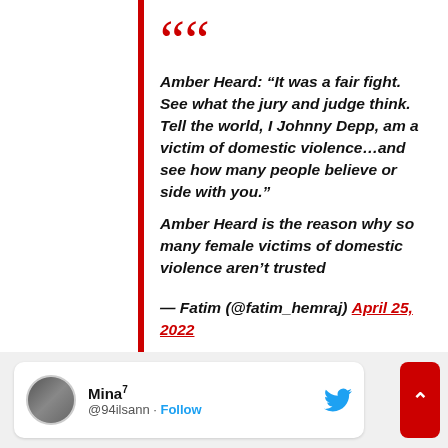Amber Heard: “It was a fair fight. See what the jury and judge think. Tell the world, I Johnny Depp, am a victim of domestic violence…and see how many people believe or side with you.” Amber Heard is the reason why so many female victims of domestic violence aren’t trusted — Fatim (@fatim_hemraj) April 25, 2022
Mina⁷ @94ilsann · Follow